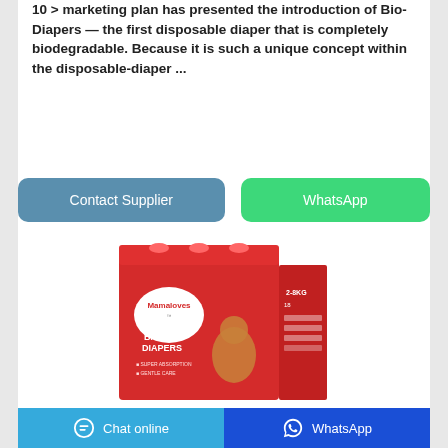10 > marketing plan has presented the introduction of Bio-Diapers — the first disposable diaper that is completely biodegradable. Because it is such a unique concept within the disposable-diaper ...
[Figure (screenshot): Two buttons: 'Contact Supplier' (blue-grey rounded rectangle) and 'WhatsApp' (green rounded rectangle)]
[Figure (photo): Mamaloves Baby Diapers product box, red packaging showing a baby, text: BABY DIAPERS, SUPER ABSORPTION, GENTLE CARE, 2-8KG, 18 units]
Chat online    WhatsApp